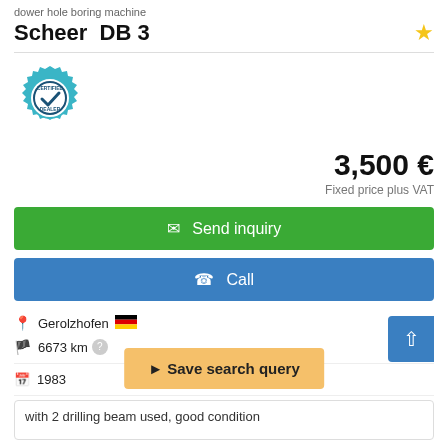dower hole boring machine
Scheer  DB 3
[Figure (logo): Certified Dealer badge/seal in teal with a checkmark]
3,500 €
Fixed price plus VAT
Send inquiry
Call
Gerolzhofen
6673 km
1983
used
Save search query
with 2 drilling beam used, good condition